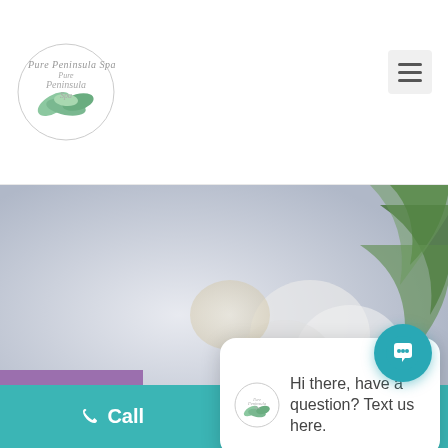[Figure (logo): Pure Peninsula Spa circular logo with teal/green leaf design and italic script text]
[Figure (screenshot): Spa website hero section with blurred background of towels and candles, showing text 'Pedicures & Manicures' and 'Pure, and...' with a chat popup overlay saying 'Hi there, have a question? Text us here.' and a close button]
close
Hi there, have a question? Text us here.
SCHEDULE
Call
Email